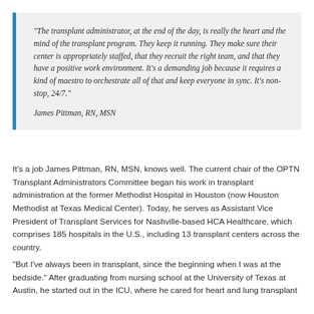“The transplant administrator, at the end of the day, is really the heart and the mind of the transplant program. They keep it running. They make sure their center is appropriately staffed, that they recruit the right team, and that they have a positive work environment. It’s a demanding job because it requires a kind of maestro to orchestrate all of that and keep everyone in sync. It’s non-stop, 24/7.”
James Pittman, RN, MSN
It’s a job James Pittman, RN, MSN, knows well. The current chair of the OPTN Transplant Administrators Committee began his work in transplant administration at the former Methodist Hospital in Houston (now Houston Methodist at Texas Medical Center). Today, he serves as Assistant Vice President of Transplant Services for Nashville-based HCA Healthcare, which comprises 185 hospitals in the U.S., including 13 transplant centers across the country.
“But I’ve always been in transplant, since the beginning when I was at the bedside.” After graduating from nursing school at the University of Texas at Austin, he started out in the ICU, where he cared for heart and lung transplant